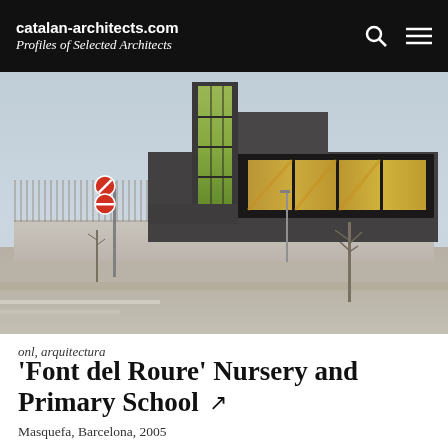catalan-architects.com
Profiles of Selected Architects
[Figure (photo): Exterior photograph of the 'Font del Roure' Nursery and Primary School building in Masquefa, Barcelona. Modern architecture with dark angular volumes, a tall tower with green-lit windows, a large projecting black box element with illuminated windows, and a concrete perimeter wall along a street, taken at dusk/dawn.]
onl, arquitectura
'Font del Roure' Nursery and Primary School
Masquefa, Barcelona, 2005